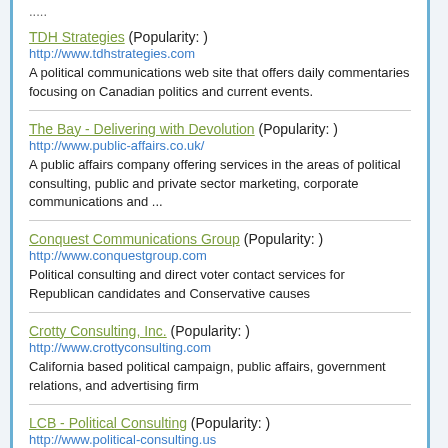TDH Strategies (Popularity: )
http://www.tdhstrategies.com
A political communications web site that offers daily commentaries focusing on Canadian politics and current events.
The Bay - Delivering with Devolution (Popularity: )
http://www.public-affairs.co.uk/
A public affairs company offering services in the areas of political consulting, public and private sector marketing, corporate communications and ...
Conquest Communications Group (Popularity: )
http://www.conquestgroup.com
Political consulting and direct voter contact services for Republican candidates and Conservative causes
Crotty Consulting, Inc. (Popularity: )
http://www.crottyconsulting.com
California based political campaign, public affairs, government relations, and advertising firm
LCB - Political Consulting (Popularity: )
http://www.political-consulting.us
international firm, specializing in election campaign management.